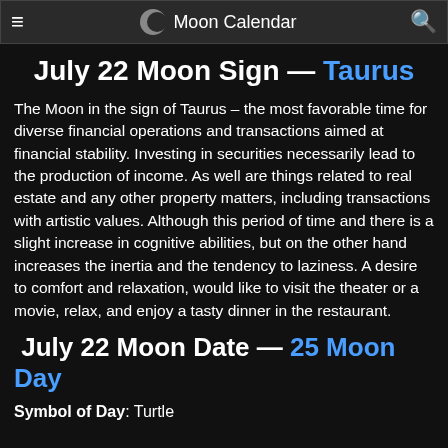Moon Calendar
July 22 Moon Sign — Taurus
The Moon in the sign of Taurus – the most favorable time for diverse financial operations and transactions aimed at financial stability. Investing in securities necessarily lead to the production of income. As well are things related to real estate and any other property matters, including transactions with artistic values. Although this period of time and there is a slight increase in cognitive abilities, but on the other hand increases the inertia and the tendency to laziness. A desire to comfort and relaxation, would like to visit the theater or a movie, relax, and enjoy a tasty dinner in the restaurant.
July 22 Moon Date — 25 Moon Day
Symbol of Day: Turtle